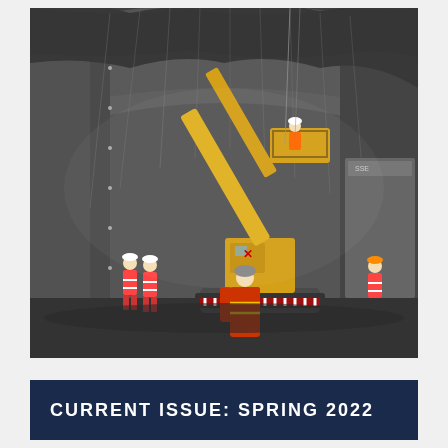[Figure (photo): Construction workers inside a large tunnel. A yellow crane/aerial work platform is positioned in the center of the tunnel, with workers in orange high-visibility suits. The tunnel has a large arched concrete ceiling with anchor bolts and wiring. Two workers stand near the left wall, one worker in the foreground center, and industrial machinery visible on the right side. The tunnel interior is dark concrete.]
CURRENT ISSUE: SPRING 2022